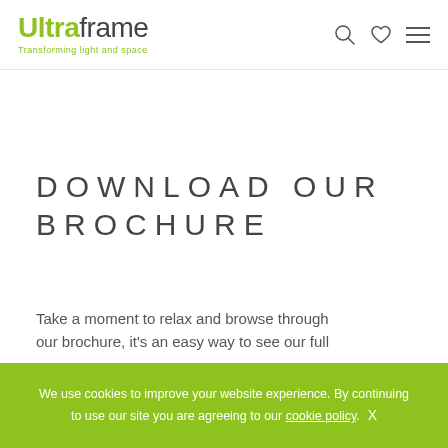Ultraframe — Transforming light and space
DOWNLOAD OUR BROCHURE
Take a moment to relax and browse through our brochure, it's an easy way to see our full
We use cookies to improve your website experience. By continuing to use our site you are agreeing to our cookie policy. X